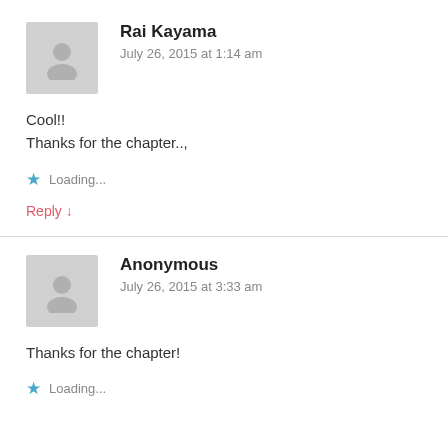Rai Kayama
July 26, 2015 at 1:14 am
Cool!!
Thanks for the chapter..,
Loading...
Reply ↓
Anonymous
July 26, 2015 at 3:33 am
Thanks for the chapter!
Loading...